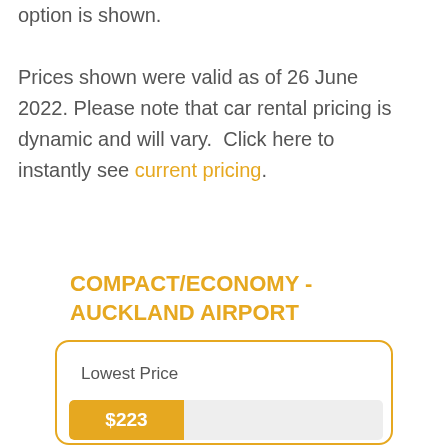option is shown. Prices shown were valid as of 26 June 2022. Please note that car rental pricing is dynamic and will vary. Click here to instantly see current pricing.
COMPACT/ECONOMY - AUCKLAND AIRPORT
[Figure (other): A card with rounded border showing Lowest Price with a price bar displaying $223]